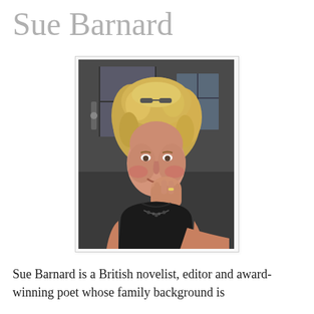Sue Barnard
[Figure (photo): Portrait photograph of Sue Barnard, a woman with curly blonde hair, wearing a black top and necklace, resting her chin on her hand, with a building/fence in the background.]
Sue Barnard is a British novelist, editor and award-winning poet whose family background is